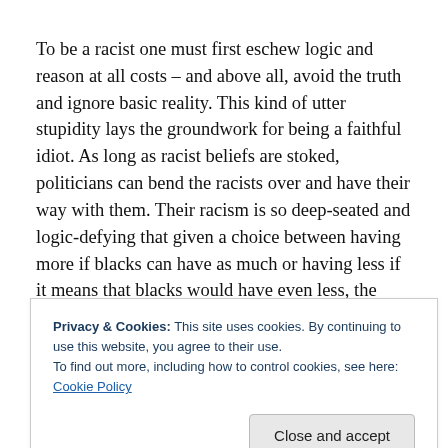To be a racist one must first eschew logic and reason at all costs – and above all, avoid the truth and ignore basic reality. This kind of utter stupidity lays the groundwork for being a faithful idiot. As long as racist beliefs are stoked, politicians can bend the racists over and have their way with them. Their racism is so deep-seated and logic-defying that given a choice between having more if blacks can have as much or having less if it means that blacks would have even less, the racists would, more often than
Privacy & Cookies: This site uses cookies. By continuing to use this website, you agree to their use. To find out more, including how to control cookies, see here: Cookie Policy
scapegoat, a group of people to blame because  those